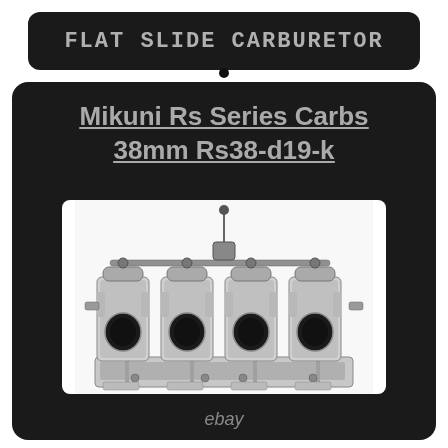Flat Slide Carburetor
Mikuni Rs Series Carbs 38mm Rs38-d19-k
[Figure (photo): Four Mikuni RS series 38mm flat slide carburetors assembled in a row on a common intake manifold, shown from the front, silver/chrome metallic finish, black throttle bodies visible at top]
ebay